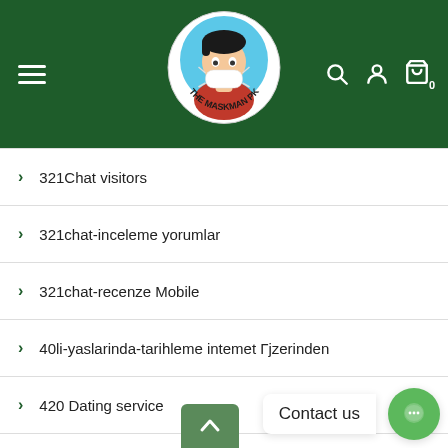[Figure (logo): The Maskman PK website header with green background, hamburger menu, circular logo of a cartoon character wearing a mask, search icon, user icon, and cart icon with 0 count]
321Chat visitors
321chat-inceleme yorumlar
321chat-recenze Mobile
40li-yaslarinda-tarihleme intemet Гjzerinden
420 Dating service
420 Dating site
420-citas espa?a
420-dating-de was kostet
420-dating-nl Dating